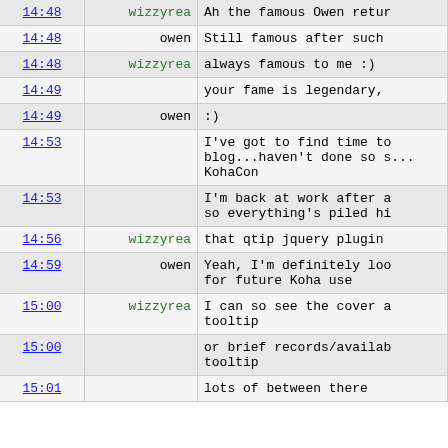| Time | Nick | Message |
| --- | --- | --- |
| 14:48 | wizzyrea | Ah the famous Owen retur... |
| 14:48 | owen | Still famous after such... |
| 14:48 | wizzyrea | always famous to me :) |
| 14:49 |  | your fame is legendary,... |
| 14:49 | owen | :) |
| 14:53 |  | I've got to find time to blog...haven't done so s... KohaCon |
| 14:53 |  | I'm back at work after a... so everything's piled hi... |
| 14:56 | wizzyrea | that qtip jquery plugin... |
| 14:59 | owen | Yeah, I'm definitely loo... for future Koha use |
| 15:00 | wizzyrea | I can so see the cover a... tooltip |
| 15:00 |  | or brief records/availab... tooltip |
| 15:01 |  | lots of between there... |